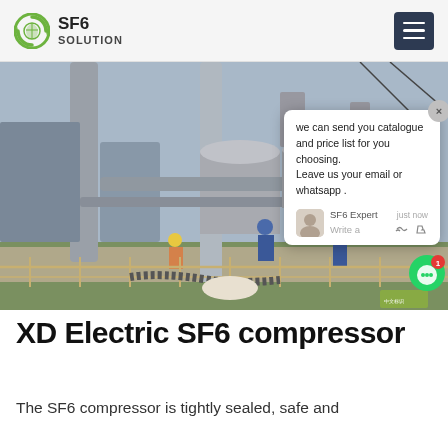SF6 SOLUTION
[Figure (photo): Outdoor electrical substation with workers in blue uniforms and helmets inspecting or maintaining large SF6 gas-insulated switchgear and transformers. A chat popup overlay is visible in the right portion of the image.]
XD Electric SF6 compressor
The SF6 compressor is tightly sealed, safe and